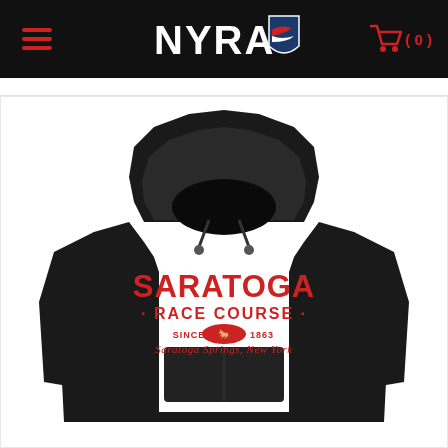NYRA (0)
[Figure (photo): Black Saratoga Race Course hoodie sweatshirt with red text reading SARATOGA RACE COURSE SINCE 1863 Saratoga Springs, New York, displayed on a white background]